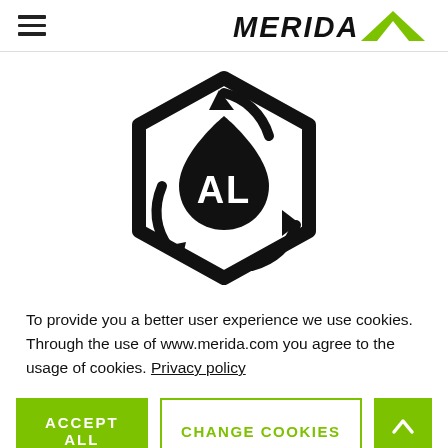MERIDA (logo with hamburger menu)
[Figure (logo): Recyclable aluminium symbol: hexagon outline with three recycling arrows around a teardrop shape containing the letters AL in white]
To provide you a better user experience we use cookies. Through the use of www.merida.com you agree to the usage of cookies. Privacy policy
ACCEPT ALL | CHANGE COOKIES | (up arrow button)